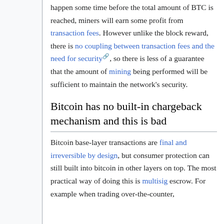happen some time before the total amount of BTC is reached, miners will earn some profit from transaction fees. However unlike the block reward, there is no coupling between transaction fees and the need for security, so there is less of a guarantee that the amount of mining being performed will be sufficient to maintain the network's security.
Bitcoin has no built-in chargeback mechanism and this is bad
Bitcoin base-layer transactions are final and irreversible by design, but consumer protection can still built into bitcoin in other layers on top. The most practical way of doing this is multisig escrow. For example when trading over-the-counter,